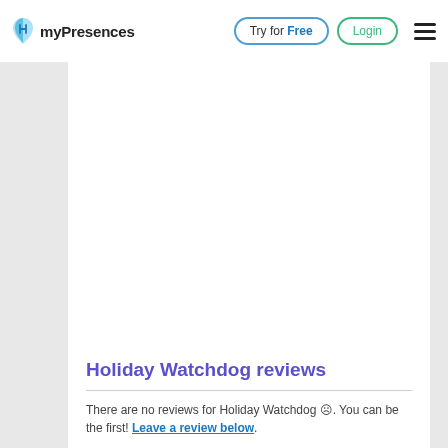myPresences | Try for Free | Login
Holiday Watchdog reviews
There are no reviews for Holiday Watchdog ☹. You can be the first! Leave a review below.